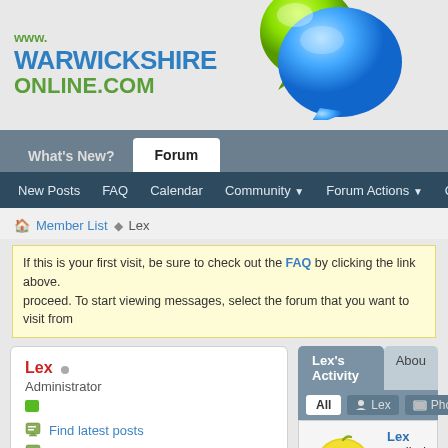[Figure (logo): www.WarwickshireOnline.com logo with green and blue speech bubble icons]
What's New? | Forum
New Posts  FAQ  Calendar  Community  Forum Actions  Quick Links
Member List > Lex
If this is your first visit, be sure to check out the FAQ by clicking the link above. proceed. To start viewing messages, select the forum that you want to visit from
Lex  Administrator
Find latest posts
Find latest started threads
Join Date:  25-06-2012
Lex's Activity | About
All  Lex  Photos
Lex replied t... Inane.
see more